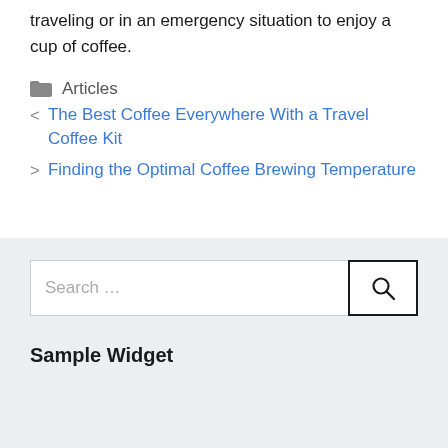traveling or in an emergency situation to enjoy a cup of coffee.
Articles
< The Best Coffee Everywhere With a Travel Coffee Kit
> Finding the Optimal Coffee Brewing Temperature
Search ...
Sample Widget